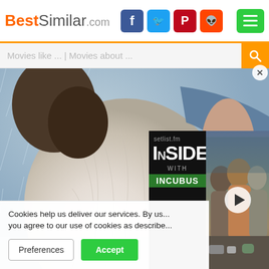BestSimilar.com
Movies like ... | Movies about ...
[Figure (screenshot): Close-up photo of a person in a wet white t-shirt with rain visible in the background, another person in blue partially visible]
[Figure (screenshot): Ad overlay: setlist.fm INSIDER WITH INCUBUS video ad with three people sitting on a couch, play button in center]
Cookies help us deliver our services. By us... you agree to our use of cookies as describe...
Preferences
Accept